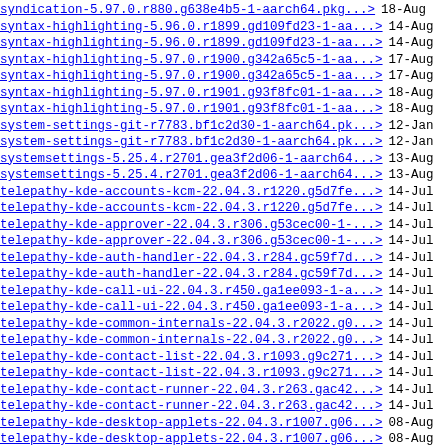syndication-5.97.0.r880.g638e4b5-1-aarch64.pkg..> 18-Aug
syntax-highlighting-5.96.0.r1899.gd109fd23-1-aa..> 14-Aug
syntax-highlighting-5.96.0.r1899.gd109fd23-1-aa..> 14-Aug
syntax-highlighting-5.97.0.r1900.g342a65c5-1-aa..> 17-Aug
syntax-highlighting-5.97.0.r1900.g342a65c5-1-aa..> 17-Aug
syntax-highlighting-5.97.0.r1901.g93f8fc01-1-aa..> 18-Aug
syntax-highlighting-5.97.0.r1901.g93f8fc01-1-aa..> 18-Aug
system-settings-git-r7783.bf1c2d30-1-aarch64.pk..> 12-Jan
system-settings-git-r7783.bf1c2d30-1-aarch64.pk..> 12-Jan
systemsettings-5.25.4.r2701.gea3f2d06-1-aarch64..> 13-Aug
systemsettings-5.25.4.r2701.gea3f2d06-1-aarch64..> 13-Aug
telepathy-kde-accounts-kcm-22.04.3.r1220.g5d7fe..> 14-Jul
telepathy-kde-accounts-kcm-22.04.3.r1220.g5d7fe..> 14-Jul
telepathy-kde-approver-22.04.3.r306.g53cec00-1-..> 14-Jul
telepathy-kde-approver-22.04.3.r306.g53cec00-1-..> 14-Jul
telepathy-kde-auth-handler-22.04.3.r284.gc59f7d..> 14-Jul
telepathy-kde-auth-handler-22.04.3.r284.gc59f7d..> 14-Jul
telepathy-kde-call-ui-22.04.3.r450.ga1ee093-1-a..> 14-Jul
telepathy-kde-call-ui-22.04.3.r450.ga1ee093-1-a..> 14-Jul
telepathy-kde-common-internals-22.04.3.r2022.g0..> 14-Jul
telepathy-kde-common-internals-22.04.3.r2022.g0..> 14-Jul
telepathy-kde-contact-list-22.04.3.r1093.g9c271..> 14-Jul
telepathy-kde-contact-list-22.04.3.r1093.g9c271..> 14-Jul
telepathy-kde-contact-runner-22.04.3.r263.gac42..> 14-Jul
telepathy-kde-contact-runner-22.04.3.r263.gac42..> 14-Jul
telepathy-kde-desktop-applets-22.04.3.r1007.g06..> 08-Aug
telepathy-kde-desktop-applets-22.04.3.r1007.g06..> 08-Aug
telepathy-kde-filetransfer-handler-22.04.3.r227..> 14-Jul
telepathy-kde-filetransfer-handler-22.04.3.r227..> 14-Jul
telepathy-kde-integration-module-22.04.3.r402.g..> 14-Jul